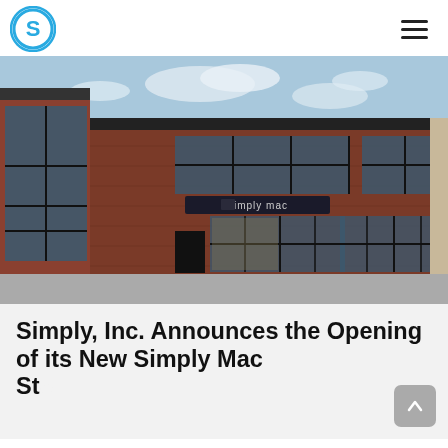Simply Mac logo and navigation
[Figure (photo): Exterior photo of a Simply Mac store in a two-story red brick building with large glass windows and a sign reading 'simply mac']
Simply, Inc. Announces the Opening of its New Simply Mac Store in Columbia, Missouri